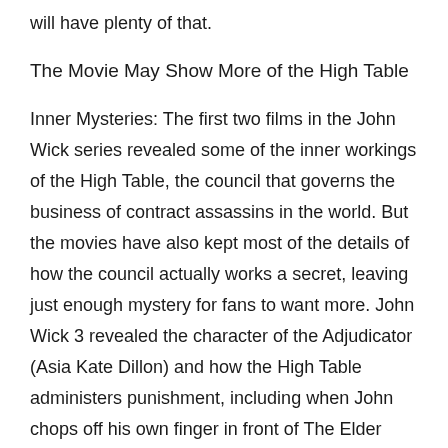will have plenty of that.
The Movie May Show More of the High Table
Inner Mysteries: The first two films in the John Wick series revealed some of the inner workings of the High Table, the council that governs the business of contract assassins in the world. But the movies have also kept most of the details of how the council actually works a secret, leaving just enough mystery for fans to want more. John Wick 3 revealed the character of the Adjudicator (Asia Kate Dillon) and how the High Table administers punishment, including when John chops off his own finger in front of The Elder (Saïd Taghmaoui) to show his commitment to his mission.